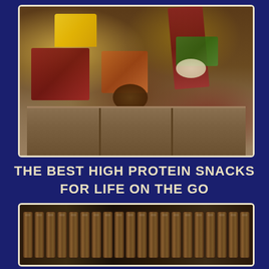[Figure (photo): A wooden charcuterie board/crate with compartments filled with various meats, cheeses, olives, dried fruit, breadsticks, and other snacks arranged artfully]
THE BEST HIGH PROTEIN SNACKS FOR LIFE ON THE GO
[Figure (photo): A row of canned goods/tins lined up on shelves, partially visible at bottom of page]